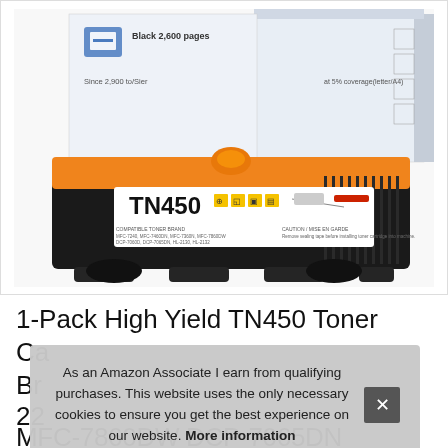[Figure (photo): Product photo showing a TN450 black toner cartridge with orange accent on top, displayed in front of its packaging box. The cartridge label reads 'TN450' with yellow icon squares and installation diagrams.]
1-Pack High Yield TN450 Toner
Ca... Br... 22... MFC-7860DW DCP-7065DN Intellmax
As an Amazon Associate I earn from qualifying purchases. This website uses the only necessary cookies to ensure you get the best experience on our website. More information